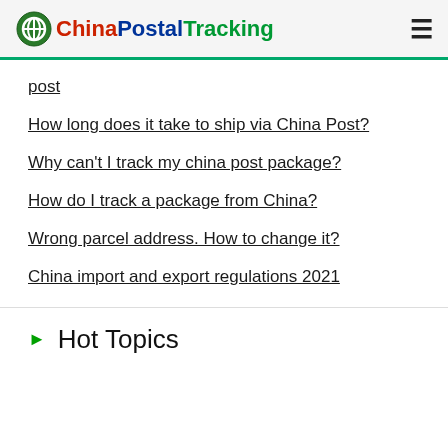ChinaPostalTracking
post
How long does it take to ship via China Post?
Why can't I track my china post package?
How do I track a package from China?
Wrong parcel address. How to change it?
China import and export regulations 2021
Hot Topics